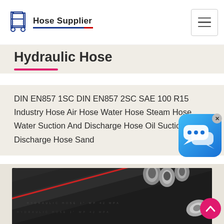Hose Supplier
Hydraulic Hose
DIN EN857 1SC DIN EN857 2SC SAE 100 R15 Industry Hose Air Hose Water Hose Steam Hose Water Suction And Discharge Hose Oil Suction And Discharge Hose Sand…
[Figure (photo): Close-up photo of black hydraulic hoses with metal fittings/couplings, showing multiple hoses bundled together with silver end connectors and red stripe detail]
[Figure (screenshot): Live chat widget overlay - blue rounded square with chat bubble icons, with X close button]